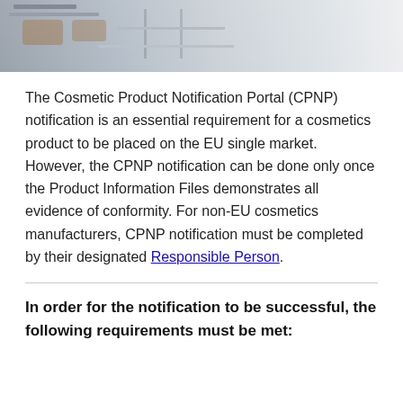[Figure (photo): Photo of cosmetics manufacturing equipment, conveyor belt or production line in a laboratory/factory setting]
The Cosmetic Product Notification Portal (CPNP) notification is an essential requirement for a cosmetics product to be placed on the EU single market. However, the CPNP notification can be done only once the Product Information Files demonstrates all evidence of conformity. For non-EU cosmetics manufacturers, CPNP notification must be completed by their designated Responsible Person.
In order for the notification to be successful, the following requirements must be met: